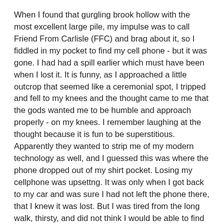When I found that gurgling brook hollow with the most excellent large pile, my impulse was to call Friend From Carlisle (FFC) and brag about it, so I fiddled in my pocket to find my cell phone - but it was gone. I had had a spill earlier which must have been when I lost it. It is funny, as I approached a little outcrop that seemed like a ceremonial spot, I tripped and fell to my knees and the thought came to me that the gods wanted me to be humble and approach properly - on my knees. I remember laughing at the thought because it is fun to be superstitious. Apparently they wanted to strip me of my modern technology as well, and I guessed this was where the phone dropped out of my shirt pocket. Losing my cellphone was upsettng. It was only when I got back to my car and was sure I had not left the phone there, that I knew it was lost. But I was tired from the long walk, thirsty, and did not think I would be able to find it anyway.
Later when I called FFC, he insisted we go back out and look for it. So the next day I took him to see the hollow with the gurgling brook, and tried very hard to retrace my step in getting there. I had figured out over night that it was when I took the spill that I was most likely to have lost the phone but there were several very similar outcrops and I was not confident of finding the exact one since we had which is where...